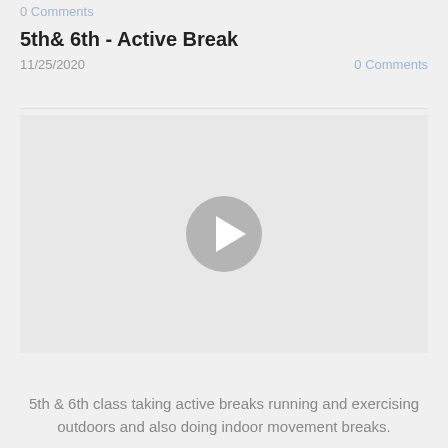0 Comments
5th& 6th - Active Break
11/25/2020
0 Comments
[Figure (screenshot): Video player with gray background and a gray circular play button in the center]
5th & 6th class taking active breaks running and exercising outdoors and also doing indoor movement breaks.